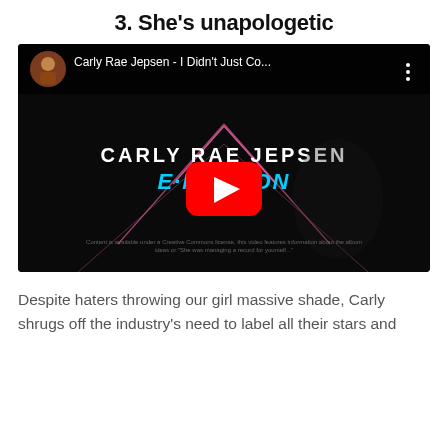3. She’s unapologetic
[Figure (screenshot): YouTube video thumbnail for Carly Rae Jepsen - I Didn't Just Co... showing the E·MO·TION album art with a play button overlay. The thumbnail shows Carly Rae Jepsen sitting against a dark background with neon geometric lines, wearing a colorful striped sweater. The YouTube top bar shows her avatar, the video title, and a three-dot menu.]
Despite haters throwing our girl massive shade, Carly shrugs off the industry’s need to label all their stars and